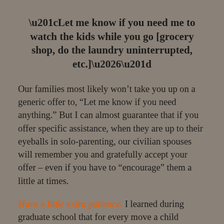“Let me know if you need me to watch the kids while you go [grocery shop, do the laundry uninterrupted, etc.]…”
Our families most likely won’t take you up on a generic offer to, “Let me know if you need anything.” But I can almost guarantee that if you offer specific assistance, when they are up to their eyeballs in solo-parenting, our civilian spouses will remember you and gratefully accept your offer – even if you have to “encourage” them a little at times.
Have a little extra patience. I learned during graduate school that for every move a child makes, expect up to a ten percent developmental regression in any given area – it could be physical regression (milestones like potty training are